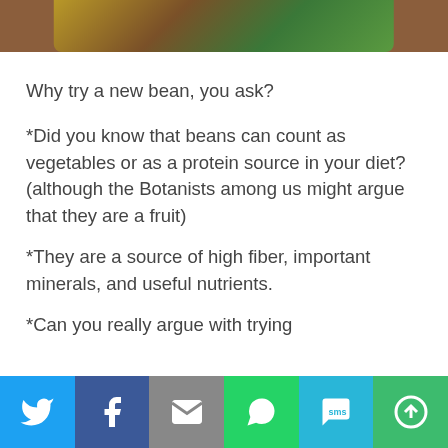[Figure (photo): Top portion of a photo showing what appears to be beans or seeds in a container with green background, partially cut off at top of page]
Why try a new bean, you ask?
*Did you know that beans can count as vegetables or as a protein source in your diet? (although the Botanists among us might argue that they are a fruit)
*They are a source of high fiber, important minerals, and useful nutrients.
*Can you really argue with trying
[Figure (infographic): Social sharing toolbar with Twitter, Facebook, Email, WhatsApp, SMS, and More buttons]